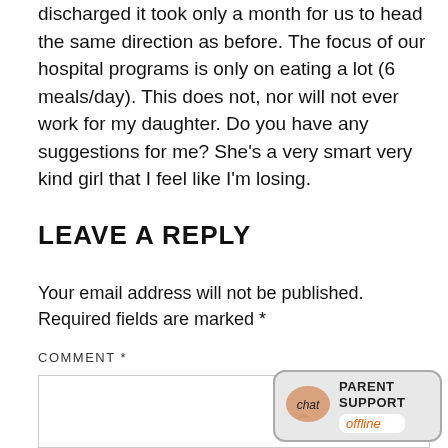discharged it took only a month for us to head the same direction as before. The focus of our hospital programs is only on eating a lot (6 meals/day). This does not, nor will not ever work for my daughter. Do you have any suggestions for me? She's a very smart very kind girl that I feel like I'm losing.
LEAVE A REPLY
Your email address will not be published. Required fields are marked *
COMMENT *
[Figure (other): Parent Support chat widget showing 'chat' speech bubble icon with 'PARENT SUPPORT' text and 'offline' status label in orange]